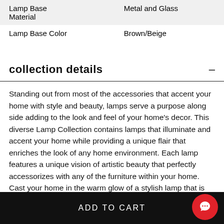| Lamp Base Material | Metal and Glass |
| Lamp Base Color | Brown/Beige |
collection details
Standing out from most of the accessories that accent your home with style and beauty, lamps serve a purpose along side adding to the look and feel of your home's decor. This diverse Lamp Collection contains lamps that illuminate and accent your home while providing a unique flair that enriches the look of any home environment. Each lamp features a unique vision of artistic beauty that perfectly accessorizes with any of the furniture within your home. Cast your home in the warm glow of a stylish lamp that is sure to enhance the beauty of your home.
ADD TO CART